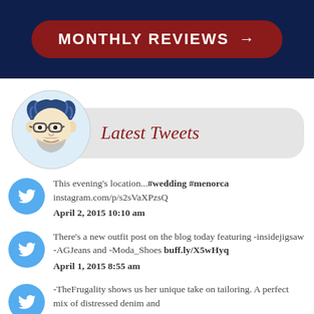[Figure (illustration): Dark navy blue banner with a dark red rounded button containing white bold text 'MONTHLY REVIEWS' with an arrow]
Latest Tweets
[Figure (illustration): Illustrated cartoon avatar of a bearded man with glasses and curly hair]
This evening's location...#wedding #menorca instagram.com/p/s2sVaXPzsQ April 2, 2015 10:10 am
There's a new outfit post on the blog today featuring -insidejigsaw -AGJeans and -Moda_Shoes buff.ly/X5wHyq April 1, 2015 8:55 am
-TheFrugality shows us her unique take on tailoring. A perfect mix of distressed denim and